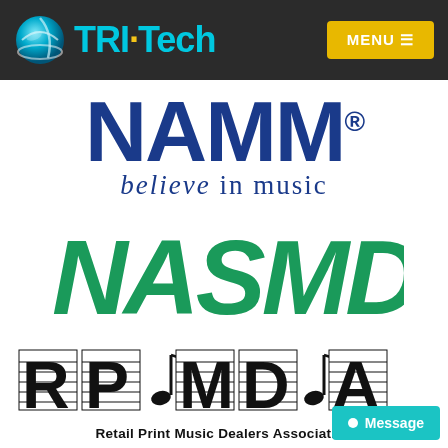[Figure (logo): TRI-Tech logo with globe icon on dark background header, with yellow MENU button]
[Figure (logo): NAMM logo - blue bold letters with registered trademark, tagline 'believe in music' in blue serif italic]
[Figure (logo): NASMD logo - bold green stylized italic letters]
[Figure (logo): RPMDA logo - Retail Print Music Dealers Association with musical staff and note decorative letters]
Retail Print Music Dealers Association
[Figure (other): Teal Message button with white dot in bottom right corner]